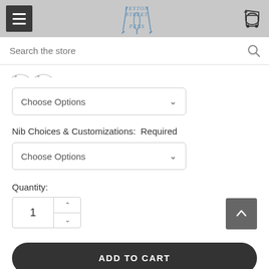[Figure (screenshot): Peyton Street Pens e-commerce mobile product page showing header with hamburger menu, logo, cart icon, search bar, product option dropdowns, quantity selector, Add to Cart button, and Add to Wish List button]
Peyton Street Pens — Search the store
Choose Options
Nib Choices & Customizations:  Required
Choose Options
Quantity:
1
ADD TO CART
ADD TO WISH LIST